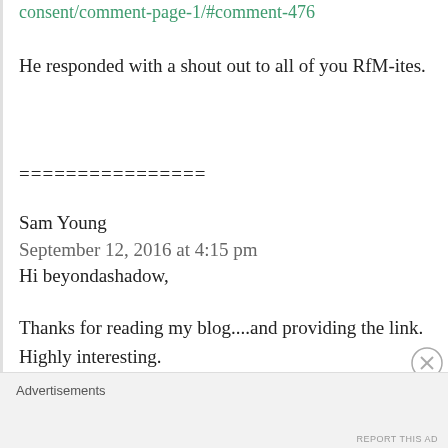consent/comment-page-1/#comment-476
He responded with a shout out to all of you RfM-ites.
================
Sam Young
September 12, 2016 at 4:15 pm
Hi beyondashadow,
Thanks for reading my blog....and providing the link. Highly interesting.
Do I expect Common Consent to see the light of day? It already is. At least, in my heart and mind.
Advertisements